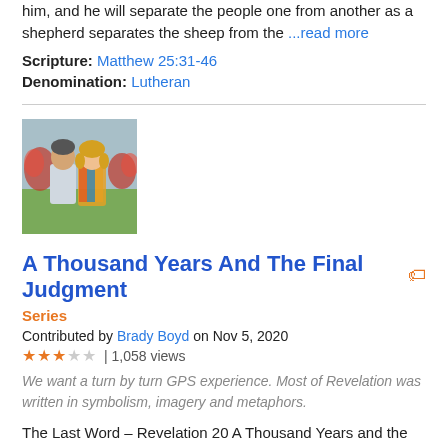him, and he will separate the people one from another as a shepherd separates the sheep from the ...read more
Scripture: Matthew 25:31-46
Denomination: Lutheran
[Figure (photo): Photo of a man and woman standing outdoors with flowers in background]
A Thousand Years And The Final Judgment
Series
Contributed by Brady Boyd on Nov 5, 2020
3 stars out of 5 | 1,058 views
We want a turn by turn GPS experience. Most of Revelation was written in symbolism, imagery and metaphors.
The Last Word – Revelation 20 A Thousand Years and the Final Judgment November 8, 2020 We want a turn by turn GPS experience. Most of Revelation was written in symbolism, imagery and metaphors. This is one of the most controversial